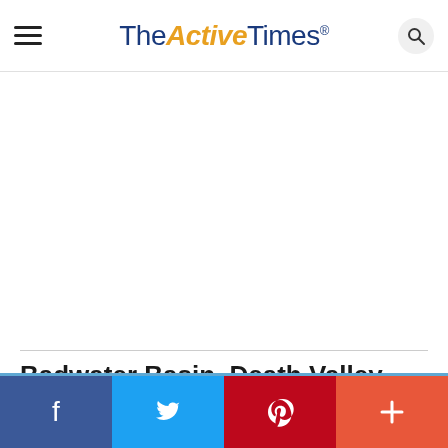TheActiveTimes
Badwater Basin, Death Valley National Park (California)
[Figure (other): Social share bar with Facebook, Twitter, Pinterest, and More (+) buttons]